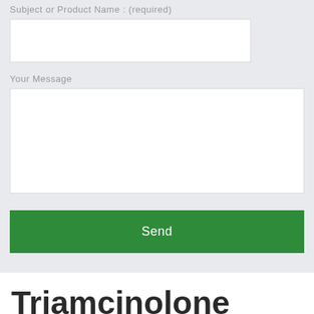Subject or Product Name : (required)
Your Message
Send
Triamcinolone Acetonide Cream